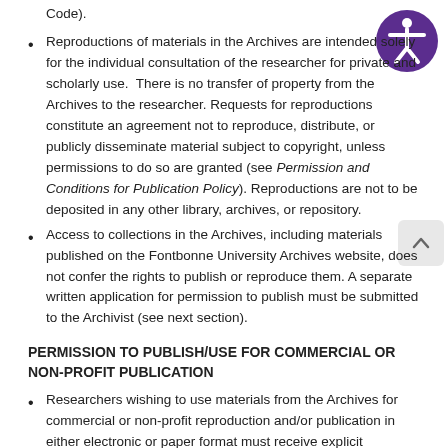Code).
Reproductions of materials in the Archives are intended solely for the individual consultation of the researcher for private and scholarly use.  There is no transfer of property from the Archives to the researcher. Requests for reproductions constitute an agreement not to reproduce, distribute, or publicly disseminate material subject to copyright, unless permissions to do so are granted (see Permission and Conditions for Publication Policy). Reproductions are not to be deposited in any other library, archives, or repository.
Access to collections in the Archives, including materials published on the Fontbonne University Archives website, does not confer the rights to publish or reproduce them. A separate written application for permission to publish must be submitted to the Archivist (see next section).
PERMISSION TO PUBLISH/USE FOR COMMERCIAL OR NON-PROFIT PUBLICATION
Researchers wishing to use materials from the Archives for commercial or non-profit reproduction and/or publication in either electronic or paper format must receive explicit...